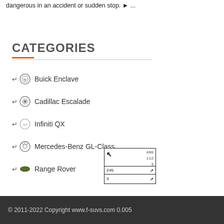dangerous in an accident or sudden stop. ► ...
CATEGORIES
Buick Enclave
Cadillac Escalade
Infiniti QX
Mercedes-Benz GL-Class
Range Rover
[Figure (other): Navigation/pagination widget showing numbers 408, 112, 3 in top section, and rows with 245 and 3 with arrow icons]
© 2011-2022 Copyright www.f-suvs.com 0.005